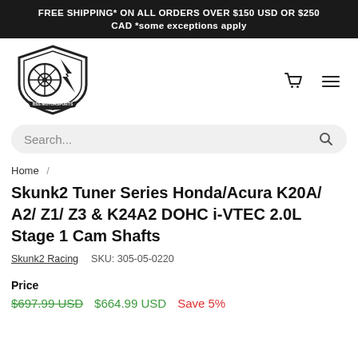FREE SHIPPING* ON ALL ORDERS OVER $150 USD OR $250 CAD *some exceptions apply
[Figure (logo): BSS Motorsports shield logo with turbo wheel and lightning bolt]
Search...
Home /
Skunk2 Tuner Series Honda/Acura K20A/ A2/ Z1/ Z3 & K24A2 DOHC i-VTEC 2.0L Stage 1 Cam Shafts
Skunk2 Racing  SKU: 305-05-0220
Price
$697.99 USD  $664.99 USD  Save 5%